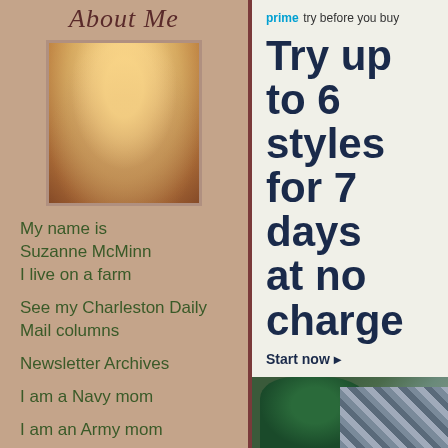About Me
[Figure (photo): Profile photo of a woman with blonde hair and a hat, warm golden tones]
My name is Suzanne McMinn
I live on a farm
See my Charleston Daily Mail columns
Newsletter Archives
I am a Navy mom
I am an Army mom
Sassafras Farm
[Figure (screenshot): Amazon Prime 'Try before you buy' advertisement: Try up to 6 styles for 7 days at no charge. Start now. Shows clothing items including a green turtleneck and plaid shirt.]